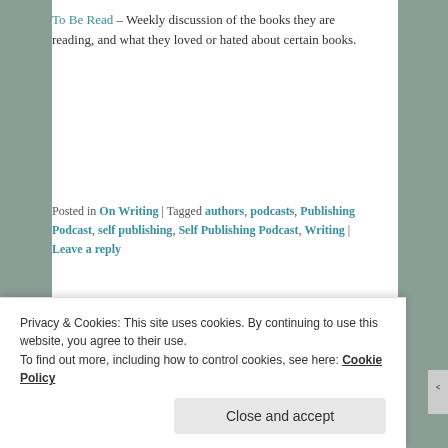To Be Read – Weekly discussion of the books they are reading, and what they loved or hated about certain books.
Posted in On Writing | Tagged authors, podcasts, Publishing Podcast, self publishing, Self Publishing Podcast, Writing | Leave a reply
What I've Learned
Privacy & Cookies: This site uses cookies. By continuing to use this website, you agree to their use.
To find out more, including how to control cookies, see here: Cookie Policy